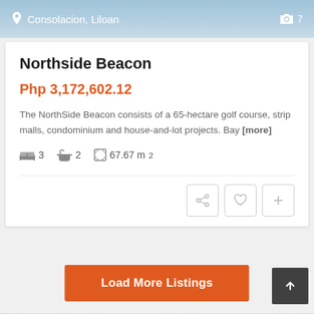Consolacion, Liloan  📷 7
Northside Beacon
Php 3,172,602.12
The NorthSide Beacon consists of a 65-hectare golf course, strip malls, condominium and house-and-lot projects. Bay [more]
3 bedrooms  2 bathrooms  67.67 m²
[Figure (screenshot): Action buttons: share, heart/favorite, plus/add]
Load More Listings